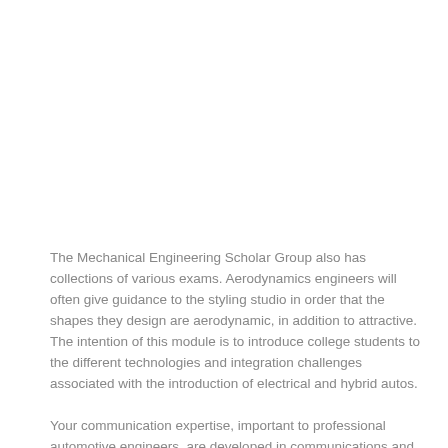The Mechanical Engineering Scholar Group also has collections of various exams. Aerodynamics engineers will often give guidance to the styling studio in order that the shapes they design are aerodynamic, in addition to attractive. The intention of this module is to introduce college students to the different technologies and integration challenges associated with the introduction of electrical and hybrid autos.
Your communication expertise, important to professional automotive engineers, are developed in communications and knowledge technology modules the place you discover the whole